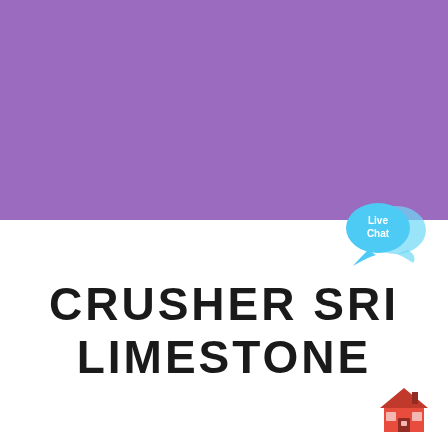[Figure (illustration): Purple rectangular block filling the top half of the image]
[Figure (logo): Live Chat speech bubble icon in cyan/light blue with text 'Live Chat' in white]
CRUSHER SRI LIMESTONE
[Figure (illustration): Red house/building icon in bottom right corner]